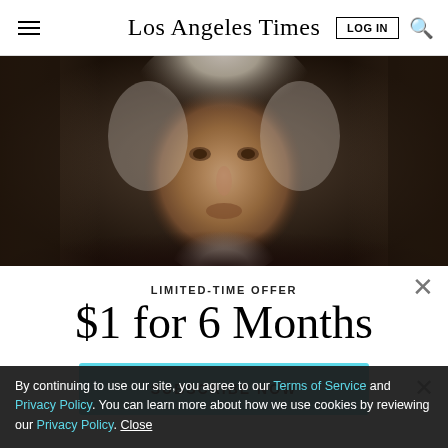Los Angeles Times
[Figure (photo): Close-up portrait of an elderly man with white hair and beard, dark moody lighting]
LIMITED-TIME OFFER
$1 for 6 Months
SUBSCRIBE NOW
By continuing to use our site, you agree to our Terms of Service and Privacy Policy. You can learn more about how we use cookies by reviewing our Privacy Policy. Close